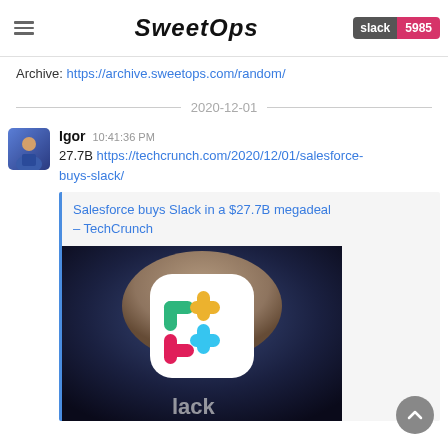SweetOps | slack 5985
jibber-jabber you'd prefer to keep out of more focused work-related channels.
Archive: https://archive.sweetops.com/random/
2020-12-01
Igor 10:41:36 PM
27.7B https://techcrunch.com/2020/12/01/salesforce-buys-slack/
Salesforce buys Slack in a $27.7B megadeal – TechCrunch
[Figure (photo): Photo of Slack app icon on a finger/phone in dark background]